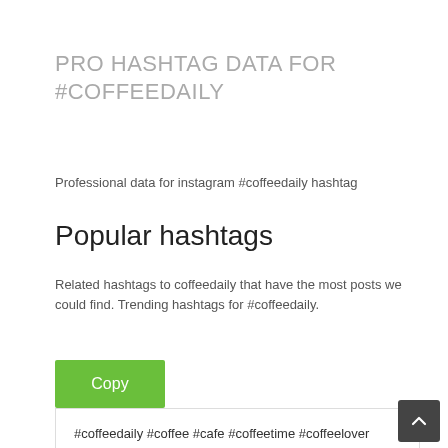PRO HASHTAG DATA FOR #COFFEEDAILY
Professional data for instagram #coffeedaily hashtag
Popular hashtags
Related hashtags to coffeedaily that have the most posts we could find. Trending hashtags for #coffeedaily.
Copy
#coffeedaily #coffee #cafe #coffeetime #coffelover #coffeeshop #latte #coffeeaddict #espresso #latteart #barista #coffeelovers #cappuccino #coffeebreak #coffeegram #instacoffee #coffeeholic #caffeine #coffeelove #specialtycoffee #kopi